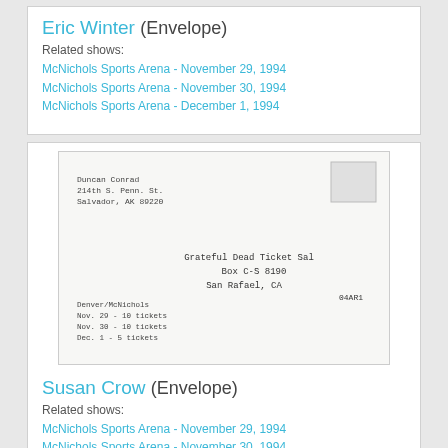Eric Winter (Envelope)
Related shows:
McNichols Sports Arena - November 29, 1994
McNichols Sports Arena - November 30, 1994
McNichols Sports Arena - December 1, 1994
[Figure (photo): Scanned envelope addressed to Grateful Dead Ticket Sales, Box C-S 8190, San Rafael, CA with handwritten return address and ticket request details]
Susan Crow (Envelope)
Related shows:
McNichols Sports Arena - November 29, 1994
McNichols Sports Arena - November 30, 1994
McNichols Sports Arena - December 1, 1994
[Figure (photo): Scanned envelope addressed to Grateful Dead Ticket Sales with handwritten return address and colorful design]